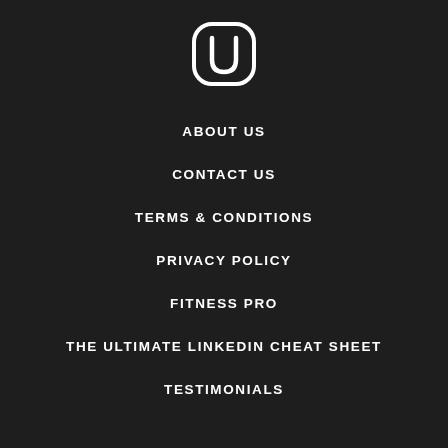[Figure (logo): Circular logo with stylized U letter inside, white outline on dark background]
ABOUT US
CONTACT US
TERMS & CONDITIONS
PRIVACY POLICY
FITNESS PRO
THE ULTIMATE LINKEDIN CHEAT SHEET
TESTIMONIALS